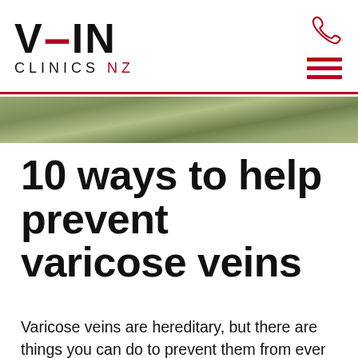VEIN CLINICS NZ
[Figure (photo): Blurred green outdoor background image used as hero banner]
10 ways to help prevent varicose veins
Varicose veins are hereditary, but there are things you can do to prevent them from ever forming. You can